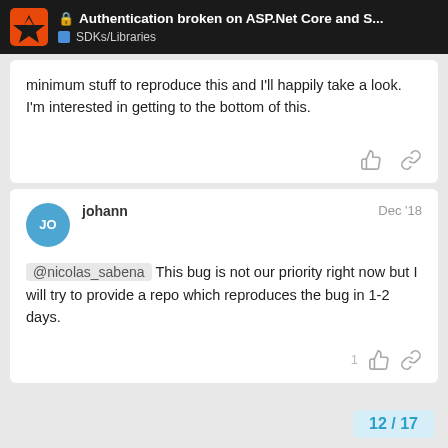Authentication broken on ASP.Net Core and S... | SDKs/Libraries
minimum stuff to reproduce this and I'll happily take a look. I'm interested in getting to the bottom of this.
johann  Dec '18
@nicolas_sabena This bug is not our priority right now but I will try to provide a repo which reproduces the bug in 1-2 days.
12 / 17